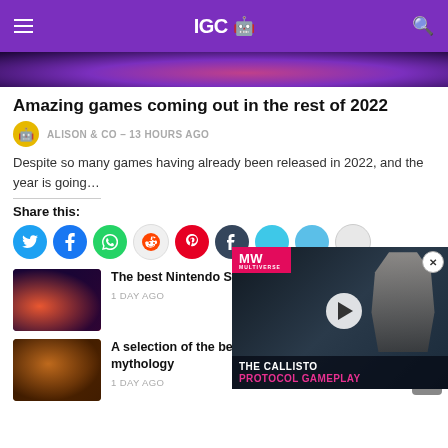IGC
[Figure (photo): Dark purple/magenta hero image, partial view of game artwork]
Amazing games coming out in the rest of 2022
ALISON & CO · 13 HOURS AGO
Despite so many games having already been released in 2022, and the year is going…
Share this:
[Figure (screenshot): The best Nintendo Switch … to reviews – 1 DAY AGO]
[Figure (screenshot): The Callisto Protocol Gameplay video overlay]
The best Nintendo Switch … to reviews
1 DAY AGO
[Figure (photo): A selection of the best games with lore based in Greek mythology]
A selection of the best games with lore based in Greek mythology
1 DAY AGO